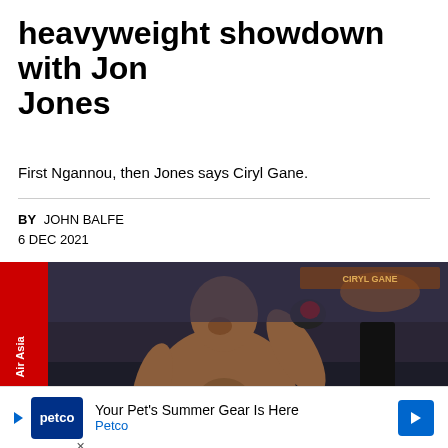heavyweight showdown with Jon Jones
First Ngannou, then Jones says Ciryl Gane.
BY JOHN BALFE
6 DEC 2021
[Figure (photo): Ciryl Gane shirtless in MMA fight gloves posing in an arena, with AirAsia banner visible on the left and crowd in the background]
Your Pet's Summer Gear Is Here Petco